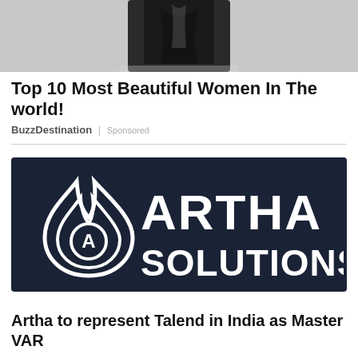[Figure (photo): Partial photo of a woman in black clothing, cropped at the top of the page]
Top 10 Most Beautiful Women In The world!
BuzzDestination | Sponsored
[Figure (logo): Artha Solutions logo — dark navy background with a white flame/drop icon containing the letter A, and bold white text reading ARTHA SOLUTIONS]
Artha to represent Talend in India as Master VAR
Artha Solutions, a leading data technology, and business consulting firm, today announced the extension of its contra...